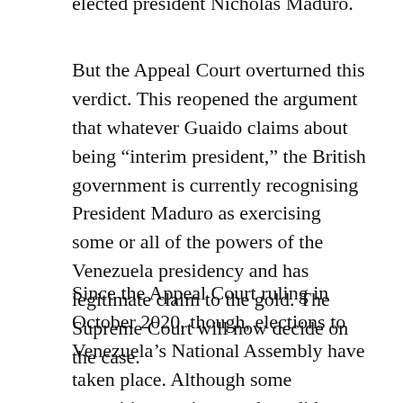elected president Nicholas Maduro.
But the Appeal Court overturned this verdict. This reopened the argument that whatever Guaido claims about being “interim president,” the British government is currently recognising President Maduro as exercising some or all of the powers of the Venezuela presidency and has legitimate claim to the gold. The Supreme Court will now decide on the case.
Since the Appeal Court ruling in October 2020, though, elections to Venezuela’s National Assembly have taken place. Although some opposition parties stood candidates, Guaido boycotted the elections, thereby losing his seat